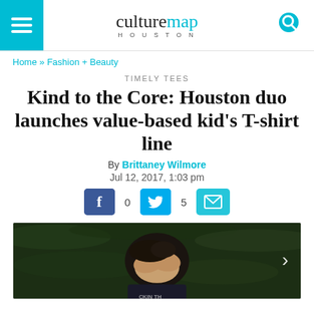culturemap HOUSTON
Home » Fashion + Beauty
TIMELY TEES
Kind to the Core: Houston duo launches value-based kid's T-shirt line
By Brittaney Wilmore
Jul 12, 2017, 1:03 pm
[Figure (screenshot): Social share buttons: Facebook (0 shares), Twitter (5 shares), Email]
[Figure (photo): Child lying on grass covering face with hands, wearing a dark t-shirt]